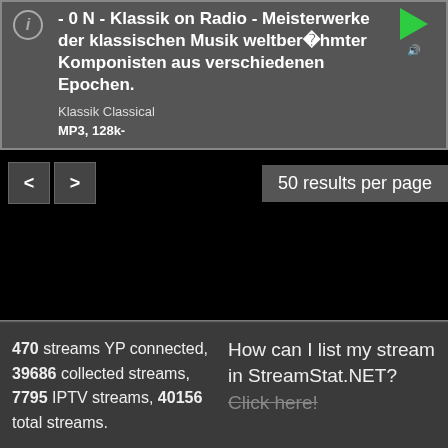- 0 N - Klassik on Radio - Meisterwerke der klassischen Musik weltberühmter Komponisten aus verschiedenen Epochen.
Klassik Classical
MP3, 128k-
50 results per page
470 streams YP connected, 39686 collected streams, 7795 IPTV streams, 40156 total streams.
How can I list my stream in StreamStat.NET? Click here!